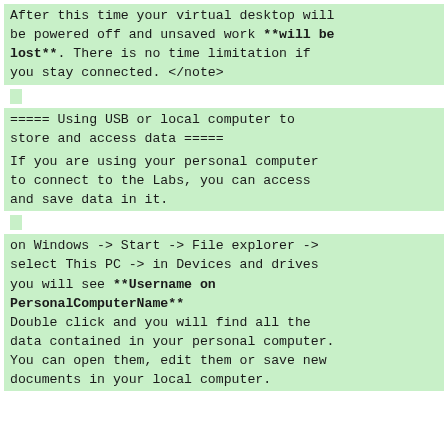After this time your virtual desktop will be powered off and unsaved work **will be lost**. There is no time limitation if you stay connected. </note>
===== Using USB or local computer to store and access data =====
If you are using your personal computer to connect to the Labs, you can access and save data in it.
on Windows -> Start -> File explorer -> select This PC -> in Devices and drives you will see **Username on PersonalComputerName**
Double click and you will find all the data contained in your personal computer. You can open them, edit them or save new documents in your local computer.